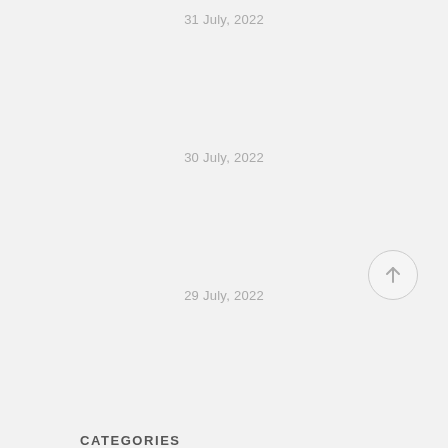31 July, 2022
30 July, 2022
29 July, 2022
[Figure (illustration): Circular back-to-top button with upward arrow icon]
CATEGORIES